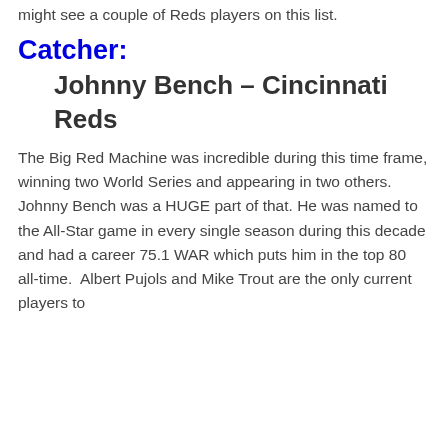might see a couple of Reds players on this list.
Catcher:
Johnny Bench – Cincinnati Reds
The Big Red Machine was incredible during this time frame, winning two World Series and appearing in two others. Johnny Bench was a HUGE part of that. He was named to the All-Star game in every single season during this decade and had a career 75.1 WAR which puts him in the top 80 all-time.  Albert Pujols and Mike Trout are the only current players to